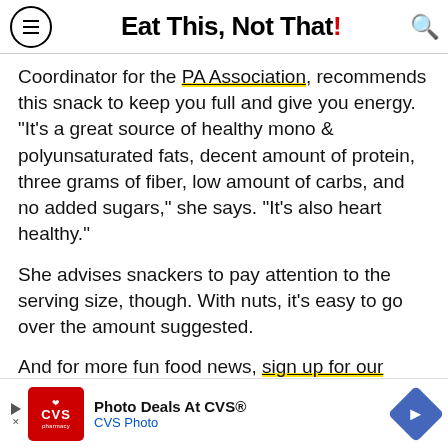Eat This, Not That!
Coordinator for the PA Association, recommends this snack to keep you full and give you energy. "It's a great source of healthy mono & polyunsaturated fats, decent amount of protein, three grams of fiber, low amount of carbs, and no added sugars," she says. "It's also heart healthy."
She advises snackers to pay attention to the serving size, though. With nuts, it's easy to go over the amount suggested.
And for more fun food news, sign up for our newsletter to get daily recipes and food news in your inbox!
[Figure (screenshot): CVS Photo advertisement banner: Photo Deals At CVS® / CVS Photo with red CVS pharmacy logo and blue diamond arrow icon]